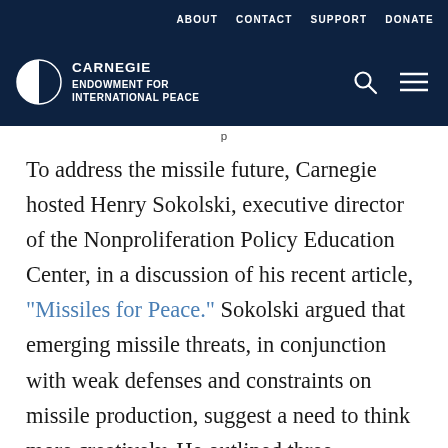ABOUT   CONTACT   SUPPORT   DONATE
CARNEGIE ENDOWMENT FOR INTERNATIONAL PEACE
p
To address the missile future, Carnegie hosted Henry Sokolski, executive director of the Nonproliferation Policy Education Center, in a discussion of his recent article, “Missiles for Peace.” Sokolski argued that emerging missile threats, in conjunction with weak defenses and constraints on missile production, suggest a need to think more creatively. He outlined three strategies that could be pursued singly